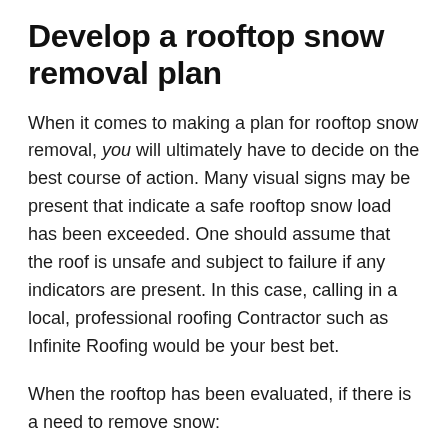Develop a rooftop snow removal plan
When it comes to making a plan for rooftop snow removal, you will ultimately have to decide on the best course of action. Many visual signs may be present that indicate a safe rooftop snow load has been exceeded. One should assume that the roof is unsafe and subject to failure if any indicators are present. In this case, calling in a local, professional roofing Contractor such as Infinite Roofing would be your best bet.
When the rooftop has been evaluated, if there is a need to remove snow: